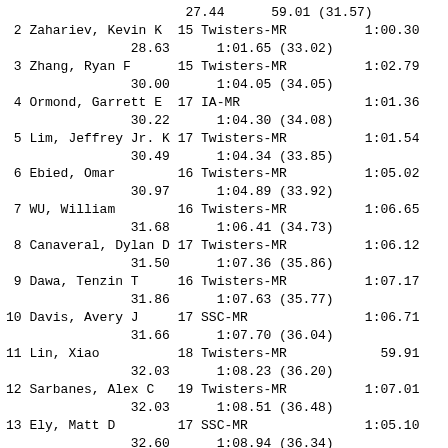27.44         59.01 (31.57)
2 Zahariev, Kevin K  15 Twisters-MR       1:00.30
            28.63      1:01.65 (33.02)
3 Zhang, Ryan F      15 Twisters-MR       1:02.79
            30.00      1:04.05 (34.05)
4 Ormond, Garrett E  17 IA-MR             1:01.36
            30.22      1:04.30 (34.08)
5 Lim, Jeffrey Jr. K 17 Twisters-MR       1:01.54
            30.49      1:04.34 (33.85)
6 Ebied, Omar        16 Twisters-MR       1:05.02
            30.97      1:04.89 (33.92)
7 WU, William        16 Twisters-MR       1:06.65
            31.68      1:06.41 (34.73)
8 Canaveral, Dylan D 17 Twisters-MR       1:06.12
            31.50      1:07.36 (35.86)
9 Dawa, Tenzin T     16 Twisters-MR       1:07.17
            31.86      1:07.63 (35.77)
10 Davis, Avery J    17 SSC-MR            1:06.71
            31.66      1:07.70 (36.04)
11 Lin, Xiao         18 Twisters-MR         59.91
            32.03      1:08.23 (36.20)
12 Sarbanes, Alex C  19 Twisters-MR       1:07.01
            32.03      1:08.51 (36.48)
13 Ely, Matt D       17 SSC-MR            1:05.10
            32.60      1:08.94 (36.34)
14 Sherpa, Nathan D  15 Twisters-MR       1:09.87
            33.06      1:09.37 (36.31)
15 Owens, Mark       16 SSC-MR            1:02.49
            32.00      1:10.32 (38.32)
16 Fonseca, Casey    15 WISC-MR           1:10.17